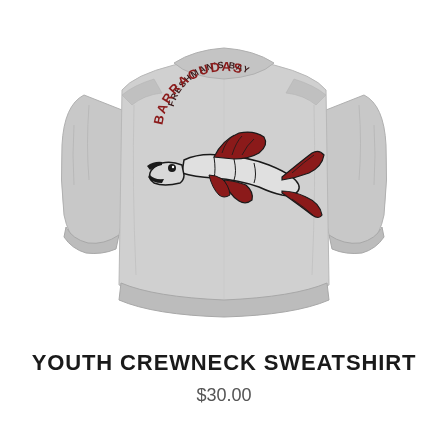[Figure (photo): Photo of a light gray youth crewneck sweatshirt shown from the back, featuring a Freshman's Bay Barracudas logo with a barracuda fish graphic in red, black and white on the center back.]
YOUTH CREWNECK SWEATSHIRT
$30.00